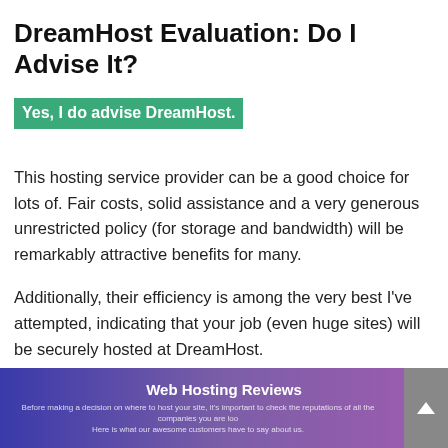DreamHost Evaluation: Do I Advise It?
Yes, I do advise DreamHost.
This hosting service provider can be a good choice for lots of. Fair costs, solid assistance and a very generous unrestricted policy (for storage and bandwidth) will be remarkably attractive benefits for many.
Additionally, their efficiency is among the very best I've attempted, indicating that your job (even huge sites) will be securely hosted at DreamHost.
Web Hosting Reviews
Before making a decision on where to host your site, it's important to check the reputations of all the companies you are looking at.
Here is what our awesome customers have to say about us.